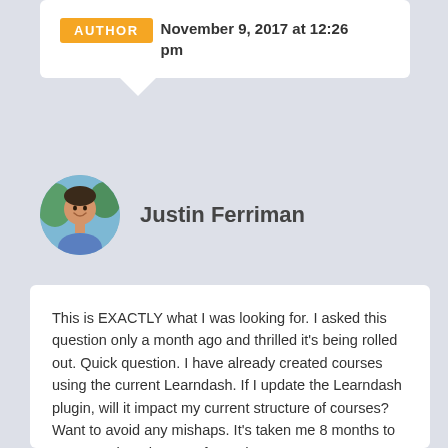AUTHOR   November 9, 2017 at 12:26 pm
Justin Ferriman
[Figure (photo): Circular avatar photo of Justin Ferriman, a man with dark hair and a blue shirt, outdoors background]
This is EXACTLY what I was looking for. I asked this question only a month ago and thrilled it's being rolled out. Quick question. I have already created courses using the current Learndash. If I update the Learndash plugin, will it impact my current structure of courses? Want to avoid any mishaps. It's taken me 8 months to prepare what I have so far and